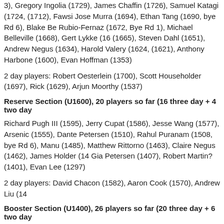3), Gregory Ingolia (1729), James Chaffin (1726), Samuel Katagi (1724, (1712), Fawsi Jose Murra (1694), Ethan Tang (1690, bye Rd 6), Blake Be Rubio-Fernaz (1672, Bye Rd 1), Michael Belleville (1668), Gert Lykke (16 (1665), Steven Dahl (1651), Andrew Negus (1634), Harold Valery (1624, (1621), Anthony Harbone (1600), Evan Hoffman (1353)
2 day players: Robert Oesterlein (1700), Scott Householder (1697), Rick (1629), Arjun Moorthy (1537)
Reserve Section (U1600), 20 players so far (16 three day + 4 two day
Richard Pugh III (1595), Jerry Cupat (1586), Jesse Wang (1577), Arsenic (1555), Dante Petersen (1510), Rahul Puranam (1508, bye Rd 6), Manu (1485), Matthew Rittorno (1463), Claire Negus (1462), James Holder (14 Gia Petersen (1407), Robert Martin? (1401), Evan Lee (1297)
2 day players: David Chacon (1582), Aaron Cook (1570), Andrew Liu (14
Booster Section (U1400), 26 players so far (20 three day + 6 two day
John Carson (1398), Darryl Woodson (1397), Michael Esh (1374), Mick P Palmer (1329), Matthew Wang (1252), Mark Negus (1191), Maria Murra (1114), Shrinidhi Jayakumar (1094), Rishik Puranam (1065, bye Rd 6), V (1010), Kevin Yang (958), Roger Pedersen (934), Thomas Hesser (855), Christopher Lane (846), Toren Anderson (791), Paola Hoffman (758), Ma
2 day players: Daniel Sun (1370), Koric Rivas (1334), Vinay Shukla (13